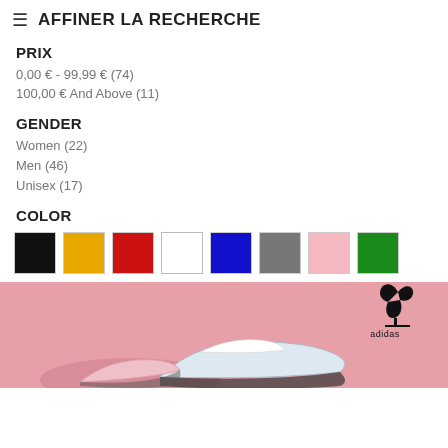≡  AFFINER LA RECHERCHE
PRIX
0,00 € - 99,99 € (74)
100,00 € And Above (11)
GENDER
Women (22)
Men (46)
Unisex (17)
COLOR
[Figure (illustration): Color swatches row: black, yellow/orange, red, white, blue, gray, pink, green]
[Figure (photo): Adidas sneakers on pink background with Adidas trefoil logo and text]